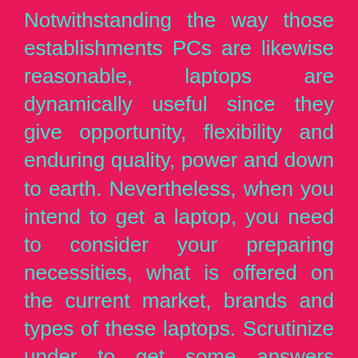Notwithstanding the way those establishments PCs are likewise reasonable, laptops are dynamically useful since they give opportunity, flexibility and enduring quality, power and down to earth. Nevertheless, when you intend to get a laptop, you need to consider your preparing necessities, what is offered on the current market, brands and types of these laptops. Scrutinize under to get some answers concerning a few things that you need to comprehend if acquiring a laptop.
The essential concern you need to pick before you a laptop is the figuring requirements and necessities. What decisively would you say you will use your